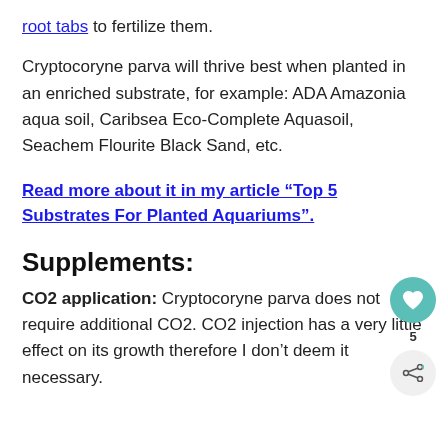root tabs to fertilize them.
Cryptocoryne parva will thrive best when planted in an enriched substrate, for example: ADA Amazonia aqua soil, Caribsea Eco-Complete Aquasoil, Seachem Flourite Black Sand, etc.
Read more about it in my article “Top 5 Substrates For Planted Aquariums”.
Supplements:
CO2 application: Cryptocoryne parva does not require additional CO2. CO2 injection has a very little effect on its growth therefore I don’t deem it necessary.